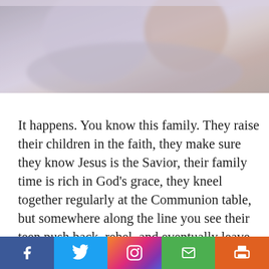[Figure (photo): A blurred photo of hands or fabric in muted lavender/pink tones, likely showing a parent and child or praying hands.]
It happens. You know this family. They raise their children in the faith, they make sure they know Jesus is the Savior, their family time is rich in God's grace, they kneel together regularly at the Communion table, but somewhere along the line you see their teen push back, rebel, and eventually leave the faith.
[Figure (infographic): Social sharing bar with Facebook (blue), Twitter (light blue), Instagram (gradient), Email (green), Print (orange) buttons.]